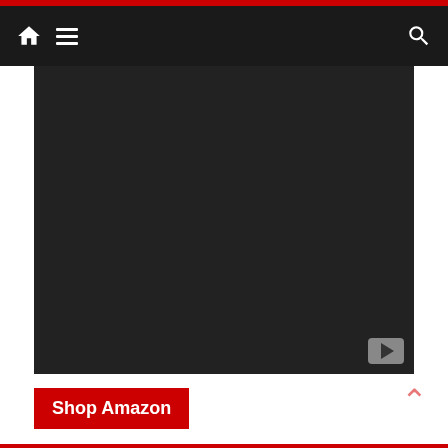Navigation bar with home icon, menu icon, and search icon
[Figure (screenshot): Dark/black video embed area with a YouTube play button in the bottom right corner]
Shop Amazon